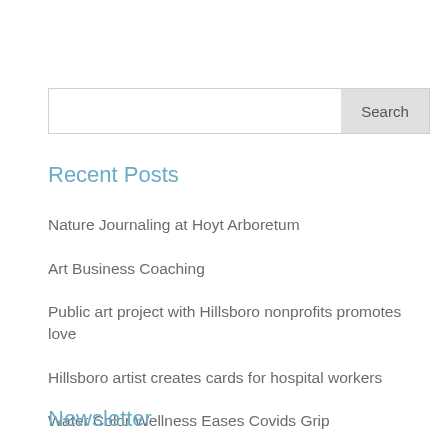[Figure (other): Search bar with text input field and Search button]
Recent Posts
Nature Journaling at Hoyt Arboretum
Art Business Coaching
Public art project with Hillsboro nonprofits promotes love
Hillsboro artist creates cards for hospital workers
Water Color Wellness Eases Covids Grip
Newsletter